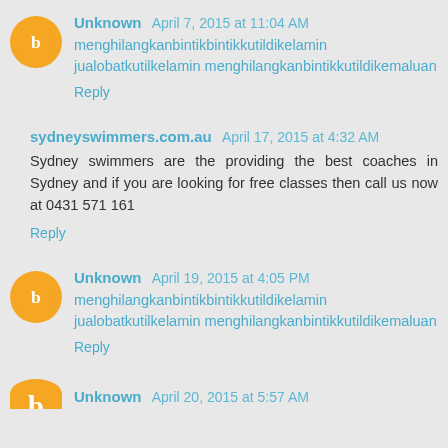Unknown April 7, 2015 at 11:04 AM
menghilangkanbintikbintikkutildikelamin jualobatkutilkelamin menghilangkanbintikkutildikemaluan
Reply
sydneyswimmers.com.au April 17, 2015 at 4:32 AM
Sydney swimmers are the providing the best coaches in Sydney and if you are looking for free classes then call us now at 0431 571 161
Reply
Unknown April 19, 2015 at 4:05 PM
menghilangkanbintikbintikkutildikelamin jualobatkutilkelamin menghilangkanbintikkutildikemaluan
Reply
Unknown April 20, 2015 at 5:57 AM